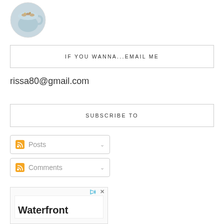[Figure (photo): Circular profile photo showing a mug/cup with decorative contents]
IF YOU WANNA...EMAIL ME
rissa80@gmail.com
SUBSCRIBE TO
Posts
Comments
[Figure (other): Advertisement box with play and close icons, containing text 'Waterfront']